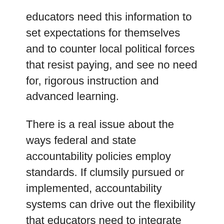educators need this information to set expectations for themselves and to counter local political forces that resist paying, and see no need for, rigorous instruction and advanced learning.
There is a real issue about the ways federal and state accountability policies employ standards. If clumsily pursued or implemented, accountability systems can drive out the flexibility that educators need to integrate standard instruction with exploration of local issues. Where educators replace normal teaching with constant test preparation – whether because of too-demanding a measurement regime or their own anxieties about being assessed –students lose.  However, measurement need not force educators to drain the life out of instruction or alter students' answers on tests. The diligence and determination of